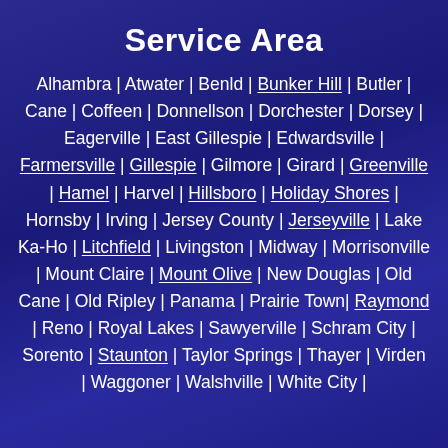Service Area
Alhambra | Atwater | Benld | Bunker Hill | Butler | Cane | Coffeen | Donnellson | Dorchester | Dorsey | Eagerville | East Gillespie | Edwardsville | Farmersville | Gillespie | Gilmore | Girard | Greenville | Hamel | Harvel | Hillsboro | Holiday Shores | Hornsby | Irving | Jersey County | Jerseyville | Lake Ka-Ho | Litchfield | Livingston | Midway | Morrisonville | Mount Claire | Mount Olive | New Douglas | Old Cane | Old Ripley | Panama | Prairie Town | Raymond | Reno | Royal Lakes | Sawyerville | Schram City | Sorento | Staunton | Taylor Springs | Thayer | Virden | Waggoner | Walshville | White City |